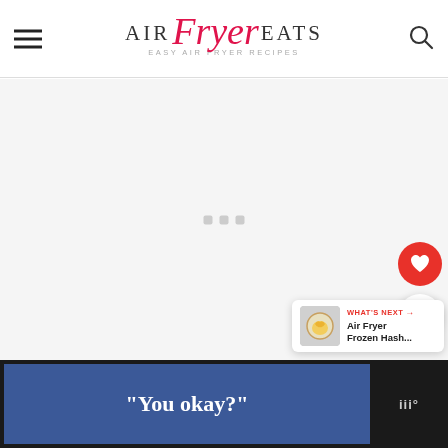AIR Fryer EATS — EASY AIR FRYER RECIPES
[Figure (screenshot): Main content area with light gray background and three small loading dots in the center]
[Figure (infographic): Red circular heart favorite button on the right side]
[Figure (infographic): White circular share button on the right side]
[Figure (infographic): What's Next card showing Air Fryer Frozen Hash... with thumbnail]
[Figure (screenshot): Bottom advertisement bar with blue banner reading "You okay?" and dark side panel with logo]